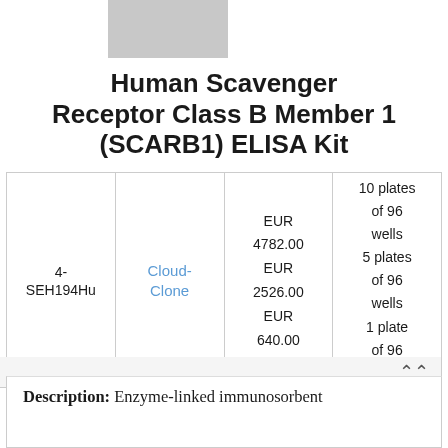[Figure (logo): Gray rectangular logo placeholder at top left]
Human Scavenger Receptor Class B Member 1 (SCARB1) ELISA Kit
|  |  |  |  |
| --- | --- | --- | --- |
| 4-SEH194Hu | Cloud-Clone | EUR 4782.00 EUR 2526.00 EUR 640.00 | 10 plates of 96 wells 5 plates of 96 wells 1 plate of 96 wells |
Description: Enzyme-linked immunosorbent